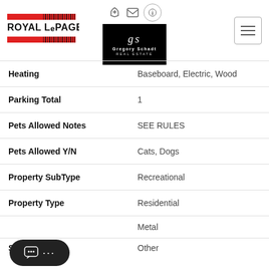[Figure (logo): Royal LePage logo with red bars and barcode]
[Figure (logo): Gregory Schadt Real Estate logo on black background]
[Figure (other): Hamburger menu icon]
| Property Feature | Value |
| --- | --- |
| Heating | Baseboard, Electric, Wood |
| Parking Total | 1 |
| Pets Allowed Notes | SEE RULES |
| Pets Allowed Y/N | Cats, Dogs |
| Property SubType | Recreational |
| Property Type | Residential |
|  | Metal |
| Sewer | Other |
[Figure (other): Chat bubble widget with ellipsis dots]